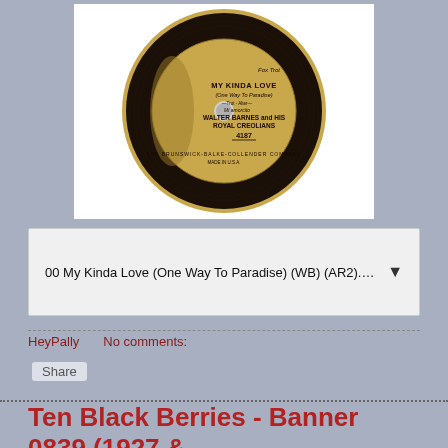[Figure (photo): A vintage Brunswick-Balke-Collender Company vinyl record label showing 'MY KINDA LOVE (One Way To Paradise)' by Walter Barnes and His Royal Creolians, catalog number 4187, Fox Trot]
00 My Kinda Love (One Way To Paradise) (WB) (AR2).m... ▼
HeyPally    No comments:
Share
Ten Black Berries - Banner 0839 (1927 & 1929)